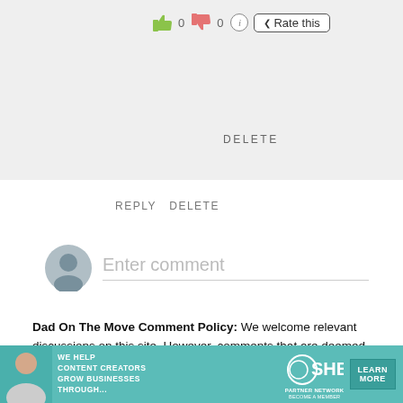[Figure (screenshot): Thumbs up emoji, count 0, thumbs down emoji, count 0, info button, Rate this button]
DELETE
REPLY  DELETE
[Figure (illustration): User avatar circle icon (gray silhouette)]
Enter comment
Dad On The Move Comment Policy: We welcome relevant discussions on this site. However, comments that are deemed spam shall be deleted.
[Figure (screenshot): Search box with SEARCH placeholder text and magnifying glass icon, and X button]
[Figure (infographic): SHE Partner Network ad banner: WE HELP CONTENT CREATORS GROW BUSINESSES THROUGH... LEARN MORE. Become a Member.]